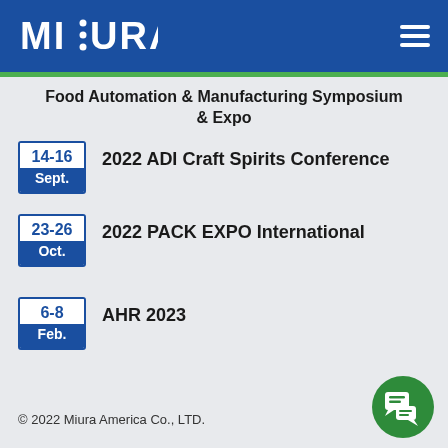MIURA
Food Automation & Manufacturing Symposium & Expo
14-16 Sept. — 2022 ADI Craft Spirits Conference
23-26 Oct. — 2022 PACK EXPO International
6-8 Feb. — AHR 2023
© 2022 Miura America Co., LTD.